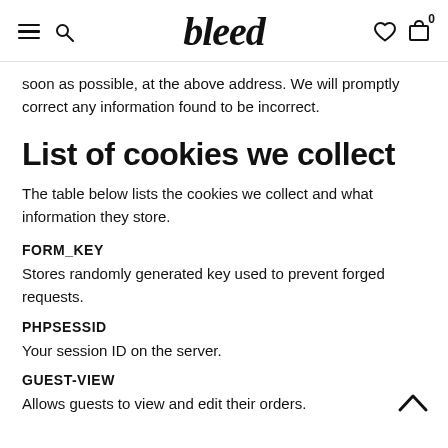bleed
soon as possible, at the above address. We will promptly correct any information found to be incorrect.
List of cookies we collect
The table below lists the cookies we collect and what information they store.
FORM_KEY
Stores randomly generated key used to prevent forged requests.
PHPSESSID
Your session ID on the server.
GUEST-VIEW
Allows guests to view and edit their orders.